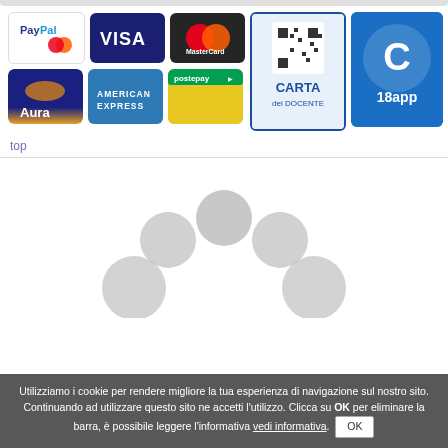[Figure (screenshot): Payment method logos: PayPal, VISA, MasterCard, Carta del Docente, 18app, Aura, American Express, Postepay]
top
[Figure (illustration): Loading spinner with grey circles arranged in an arc pattern]
Utilizziamo i cookie per rendere migliore la tua esperienza di navigazione sul nostro sito. Continuando ad utilizzare questo sito ne accetti l'utilizzo. Clicca su OK per eliminare la barra, è possibile leggere l'informativa vedi informativa. OK